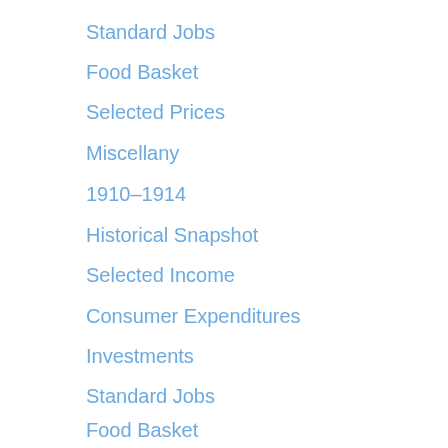Standard Jobs
Food Basket
Selected Prices
Miscellany
1910–1914
Historical Snapshot
Selected Income
Consumer Expenditures
Investments
Standard Jobs
Food Basket